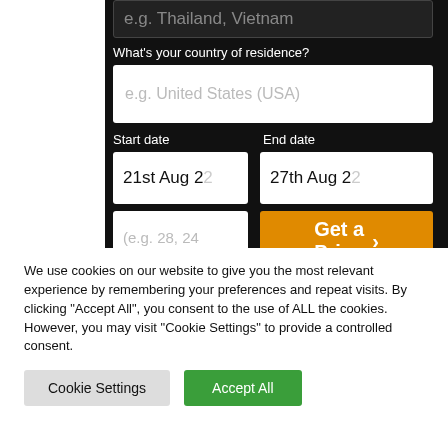[Figure (screenshot): Insurance quote form screenshot on dark background showing fields: destination countries (e.g. Thailand, Vietnam), country of residence (e.g. United States USA), start date (21st Aug 2?), end date (27th Aug 2?), traveler's age input, and Get a Price button in orange]
We use cookies on our website to give you the most relevant experience by remembering your preferences and repeat visits. By clicking "Accept All", you consent to the use of ALL the cookies. However, you may visit "Cookie Settings" to provide a controlled consent.
Cookie Settings
Accept All